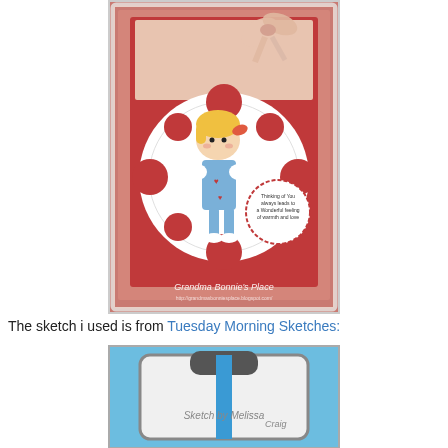[Figure (photo): A handmade greeting card featuring a cute cartoon girl with blonde hair wearing a blue dress and white mittens, standing on a white decorative doily snowflake. The card has pink/red floral background, a circular sentiment tag reading 'Thinking of You always leads to a Wonderful feeling of warmth and love', a ribbon bow at top, and 'Grandma Bonnie's Place' watermark at bottom.]
The sketch i used is from Tuesday Morning Sketches:
[Figure (photo): A card sketch/template showing a card design with a blue vertical stripe and rounded rectangle shape, labeled 'Sketch by Melissa Craig']